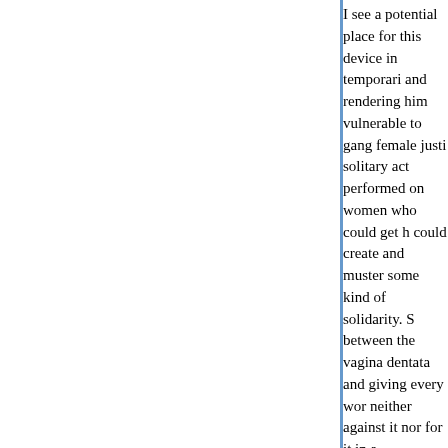I see a potential place for this device in temporari... and rendering him vulnerable to gang female justi... solitary act performed on women who could get h... could create and muster some kind of solidarity. S... between the vagina dentata and giving every wor... neither against it nor for it in a philosophical sens... adopted and how it works in prctice before we co... too useless.
aimai
Posted by: aimai | November 08, 2007 at 02:58 PM
Everyone was okay and this thing hurt me. I refle...
Maybe the person attacked would get violent.
Vietnam was razor blades.
Posted by: FRD | November 08, 2007 at 04:30 PM
Aimai: "Most of all I think that this whole discussio... women's intelligence that is kind of striking. Are p... impression that S african women can't figure out v...